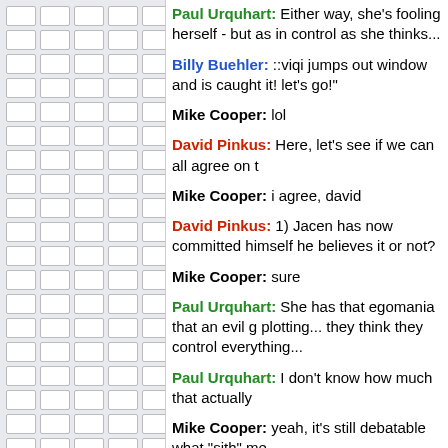[Figure (other): Left sidebar with brick/tile grid pattern in gray]
Paul Urquhart: Either way, she's fooling herself - but as in control as she thinks...
Billy Buehler: ::viqi jumps out window and is caught it! let's go!"
Mike Cooper: lol
David Pinkus: Here, let's see if we can all agree on t
Mike Cooper: i agree, david
David Pinkus: 1) Jacen has now committed himself he believes it or not?
Mike Cooper: sure
Paul Urquhart: She has that egomania that an evil g plotting... they think they control everything...
Paul Urquhart: I don't know how much that actually
Mike Cooper: yeah, it's still debatable what "sith" me
David Pinkus: Agree to it then! :p
Paul Urquhart: I take david's point on the fact that it of action, but if it's a question of what Jacen wants vs expect, Jacen wins.
* Mike Cooper covers paul's mouth
Mike Cooper: he agrees